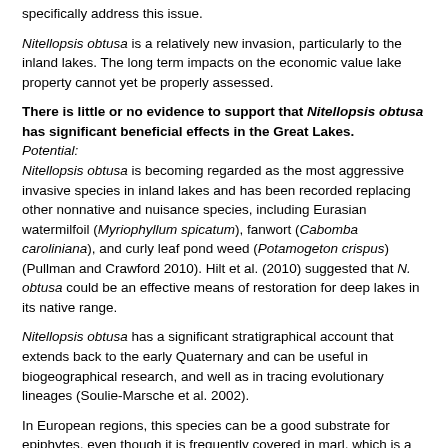specifically address this issue.
Nitellopsis obtusa is a relatively new invasion, particularly to the inland lakes. The long term impacts on the economic value lake property cannot yet be properly assessed.
There is little or no evidence to support that Nitellopsis obtusa has significant beneficial effects in the Great Lakes. Potential:
Nitellopsis obtusa is becoming regarded as the most aggressive invasive species in inland lakes and has been recorded replacing other nonnative and nuisance species, including Eurasian watermilfoil (Myriophyllum spicatum), fanwort (Cabomba caroliniana), and curly leaf pond weed (Potamogeton crispus) (Pullman and Crawford 2010). Hilt et al. (2010) suggested that N. obtusa could be an effective means of restoration for deep lakes in its native range.
Nitellopsis obtusa has a significant stratigraphical account that extends back to the early Quaternary and can be useful in biogeographical research, and well as in tracing evolutionary lineages (Soulie-Marsche et al. 2002).
In European regions, this species can be a good substrate for epiphytes, even though it is frequently covered in marl, which is a byproduct of photosynthesis formed when bicarbonate is used (Brindow 1987). It is known to have allelopathic properties towards cyanobacteria (Berger and Schagerl 2004). Nitellopsis obtusa increases in the Netherlands have been associated with increases in populations of red-crested pochards (Netta rufina), which feed on it, partially making it invasive possible because it is